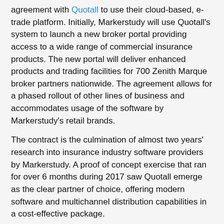agreement with Quotall to use their cloud-based, e-trade platform. Initially, Markerstudy will use Quotall's system to launch a new broker portal providing access to a wide range of commercial insurance products. The new portal will deliver enhanced products and trading facilities for 700 Zenith Marque broker partners nationwide. The agreement allows for a phased rollout of other lines of business and accommodates usage of the software by Markerstudy's retail brands.
The contract is the culmination of almost two years' research into insurance industry software providers by Markerstudy. A proof of concept exercise that ran for over 6 months during 2017 saw Quotall emerge as the clear partner of choice, offering modern software and multichannel distribution capabilities in a cost-effective package.
Commenting on the deal, Markerstudy Group Underwriting Director, Gary Humphreys, said:
“Our strategy as a business has been to develop non-standard, flexible, multi-trade products. These differentiators have set us apart and ensured strong demand from our broker partners, but their complexity gave rise to a further challenge; ease of distribution. As a business, we recognised the need to make it far easier for brokers to transact with us digitally. Reviewing